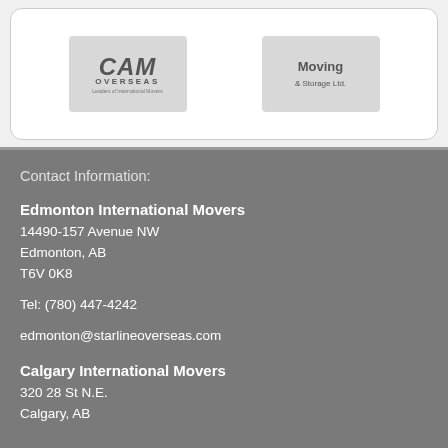[Figure (logo): CAM Overseas logo - stylized text with italic CAM and OVERSEAS below]
[Figure (logo): Moving & Storage Ltd. logo with animal graphic and text]
Contact Information:
Edmonton International Movers
14490-157 Avenue NW
Edmonton, AB
T6V 0K8

Tel: (780) 447-4242

edmonton@starlineoverseas.com
Calgary International Movers
320 28 St N.E.
Calgary, AB